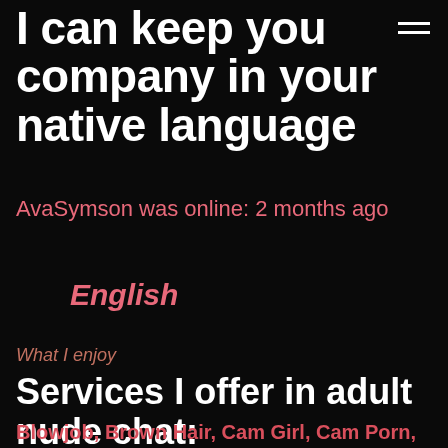I can keep you company in your native language
AvaSymson was online: 2 months ago
English
What I enjoy
Services I offer in adult nude chat:
Blowjob, Brown Hair, Cam Girl, Cam Porn,